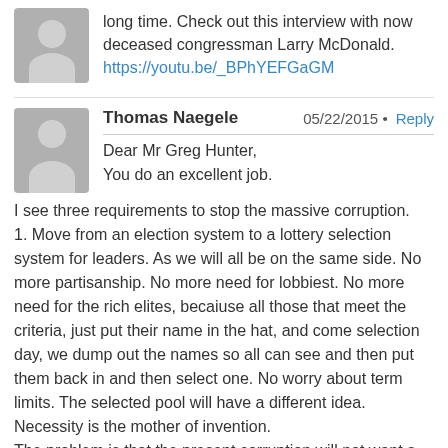long time. Check out this interview with now deceased congressman Larry McDonald.
https://youtu.be/_BPhYEFGaGM
Thomas Naegele
05/22/2015 • Reply
Dear Mr Greg Hunter,
You do an excellent job.
I see three requirements to stop the massive corruption.
1. Move from an election system to a lottery selection system for leaders. As we will all be on the same side. No more partisanship. No more need for lobbiest. No more need for the rich elites, becaiuse all those that meet the criteria, just put their name in the hat, and come selection day, we dump out the names so all can see and then put them back in and then select one. No worry about term limits. The selected pool will have a different idea. Necessity is the mother of invention.
The problem is that the present corruption will not want a lottery selection system. Look at all of the changes to voters over the years within the constitution. First it was land owners only, and then they chipped away at the ideas of the founders more and